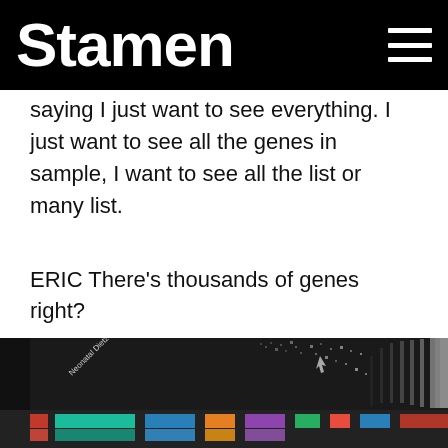Stamen
saying I just want to see everything. I just want to see all the genes in sample, I want to see all the list or many list.
ERIC There’s thousands of genes right?
ZAN Yeah and so now it’s all limited by the number of pixels rather than speed, which is amazing.
[Figure (screenshot): Dark background visualization showing genomic data with colorful horizontal bars (red, blue, teal) and a scatter/density plot of dots in gray and white, with a cursor visible and text label reading 'Neonatal Dietz']